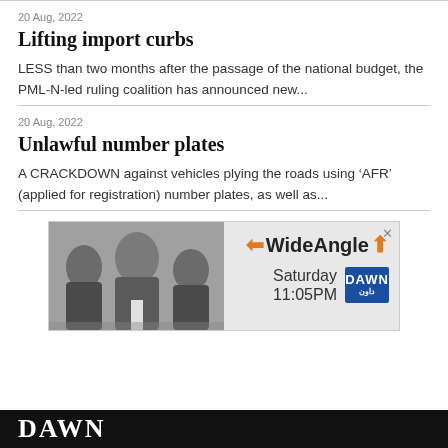20 Aug, 2022
Lifting import curbs
LESS than two months after the passage of the national budget, the PML-N-led ruling coalition has announced new...
20 Aug, 2022
Unlawful number plates
A CRACKDOWN against vehicles plying the roads using ‘AFR’ (applied for registration) number plates, as well as...
[Figure (photo): Advertisement banner for Wide Angle show on DAWN TV, featuring three men in suits, showing Saturday 11:05PM schedule]
DAWN